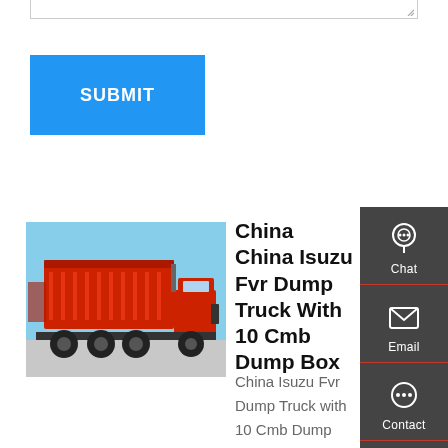[Figure (screenshot): Textarea bottom border with resize handle]
[Figure (screenshot): Blue SUBMIT button]
[Figure (photo): Red Isuzu FVR dump truck parked outdoors]
China China Isuzu Fvr Dump Truck With 10 Cmb Dump Box
China Isuzu Fvr Dump Truck with 10 Cmb Dump Box. The box (tank) of special vehicles with hydraulic lifting mechanism can be removed or inclined at a